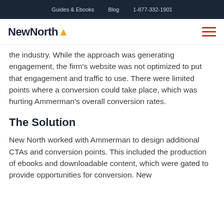Guides & Ebooks   Blog   1-877-332-1901
[Figure (logo): NewNorth logo with yellow chevron arrow and hamburger menu icon]
the industry. While the approach was generating engagement, the firm's website was not optimized to put that engagement and traffic to use. There were limited points where a conversion could take place, which was hurting Ammerman's overall conversion rates.
The Solution
New North worked with Ammerman to design additional CTAs and conversion points. This included the production of ebooks and downloadable content, which were gated to provide opportunities for conversion. New